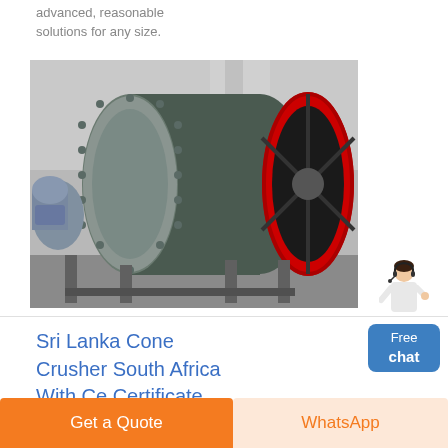advanced, reasonable solutions for any size.
[Figure (photo): Industrial ball mill machine with gray cylindrical drum, flanged end caps with bolts, red gear ring on far end, mounted on structural steel frame in a factory/warehouse setting.]
[Figure (illustration): Customer service representative figure (woman in white jacket) with blue 'Free chat' button below.]
Sri Lanka Cone Crusher South Africa With Ce Certificate ...
Get a Quote
WhatsApp